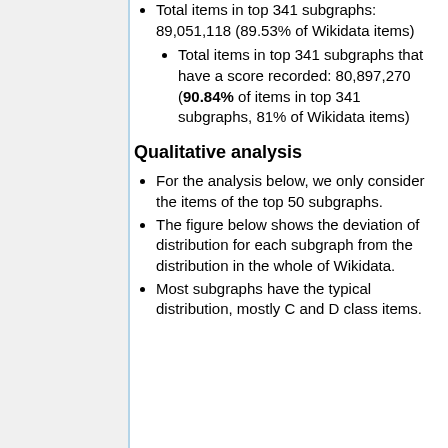Total items in top 341 subgraphs: 89,051,118 (89.53% of Wikidata items)
Total items in top 341 subgraphs that have a score recorded: 80,897,270 (90.84% of items in top 341 subgraphs, 81% of Wikidata items)
Qualitative analysis
For the analysis below, we only consider the items of the top 50 subgraphs.
The figure below shows the deviation of distribution for each subgraph from the distribution in the whole of Wikidata.
Most subgraphs have the typical distribution, mostly C and D class items.